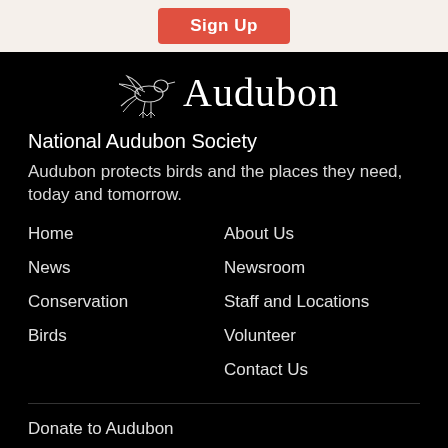[Figure (logo): Sign Up button (red/orange rounded rectangle with white text)]
[Figure (logo): Audubon logo: bird silhouette illustration and 'Audubon' wordmark in serif font, white on black background]
National Audubon Society
Audubon protects birds and the places they need, today and tomorrow.
Home
News
Conservation
Birds
About Us
Newsroom
Staff and Locations
Volunteer
Contact Us
Donate to Audubon
Leave a Legacy